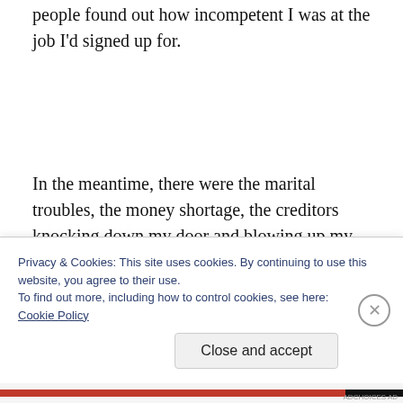people found out how incompetent I was at the job I'd signed up for.
In the meantime, there were the marital troubles, the money shortage, the creditors knocking down my door and blowing up my cell phone, the logistical troubles, the health problems and cognitive decline of my spouse...
Privacy & Cookies: This site uses cookies. By continuing to use this website, you agree to their use.
To find out more, including how to control cookies, see here:
Cookie Policy
Close and accept